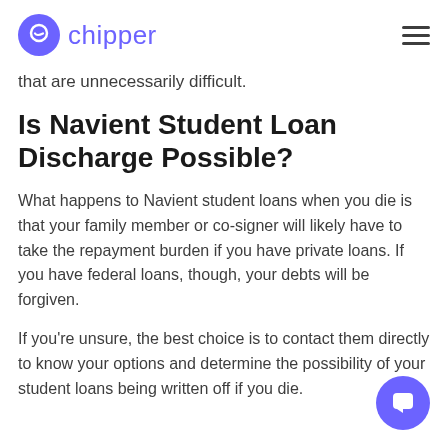chipper
that are unnecessarily difficult.
Is Navient Student Loan Discharge Possible?
What happens to Navient student loans when you die is that your family member or co-signer will likely have to take the repayment burden if you have private loans. If you have federal loans, though, your debts will be forgiven.
If you're unsure, the best choice is to contact them directly to know your options and determine the possibility of your student loans being written off if you die.